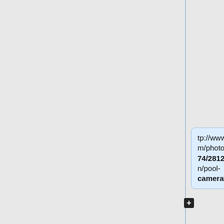tp://www.flickr.com/photos/rst90274/2812060730/in/pool-camerawiki/
| image=http://farm4.static.flickr.com/3139/2812060730_3594060ef2_m.jpg
| image_align=
| image_text=Canon III
|image_by=rst12
|image_rights= with permission